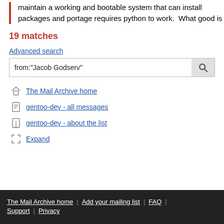maintain a working and bootable system that can install packages and portage requires python to work.  What good is
19 matches
Advanced search
from:"Jacob Godserv"
The Mail Archive home
gentoo-dev - all messages
gentoo-dev - about the list
Expand
The Mail Archive home | Add your mailing list | FAQ | Support | Privacy